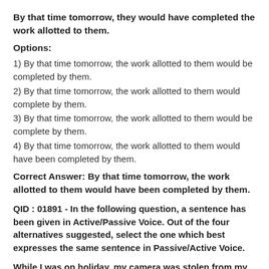By that time tomorrow, they would have completed the work allotted to them.
Options:
1) By that time tomorrow, the work allotted to them would be completed by them.
2) By that time tomorrow, the work allotted to them would complete by them.
3) By that time tomorrow, the work allotted to them would be complete by them.
4) By that time tomorrow, the work allotted to them would have been completed by them.
Correct Answer: By that time tomorrow, the work allotted to them would have been completed by them.
QID : 01891 - In the following question, a sentence has been given in Active/Passive Voice. Out of the four alternatives suggested, select the one which best expresses the same sentence in Passive/Active Voice.
While I was on holiday, my camera was stolen from my hotel room.